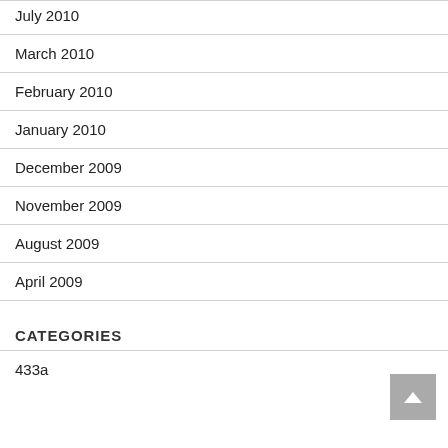July 2010
March 2010
February 2010
January 2010
December 2009
November 2009
August 2009
April 2009
CATEGORIES
433a